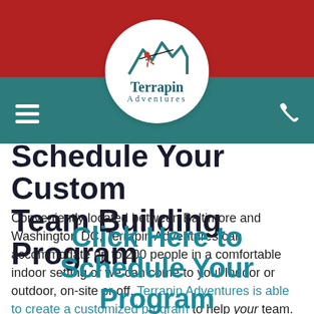[Figure (logo): Terrapin Adventures logo: circular white badge with teal mountain peaks, red zip-liner figure, and text 'Terrapin Adventures']
Schedule Your Custom Team Building Program
Conveniently located between Baltimore and Washington DC, Terrapin Adventures can accommodate up to 200 people in a comfortable indoor setting or we can come to you! Indoor or outdoor, on-site or off, Terrapin Adventures is able to create a customized program to help your team.
Click Here to Schedule Your Program